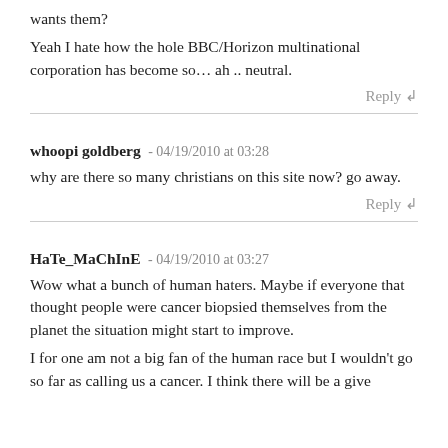wants them?
Yeah I hate how the hole BBC/Horizon multinational corporation has become so... ah .. neutral.
Reply ↲
whoopi goldberg - 04/19/2010 at 03:28
why are there so many christians on this site now? go away.
Reply ↲
HaTe_MaChInE - 04/19/2010 at 03:27
Wow what a bunch of human haters. Maybe if everyone that thought people were cancer biopsied themselves from the planet the situation might start to improve.
I for one am not a big fan of the human race but I wouldn't go so far as calling us a cancer. I think there will be a give